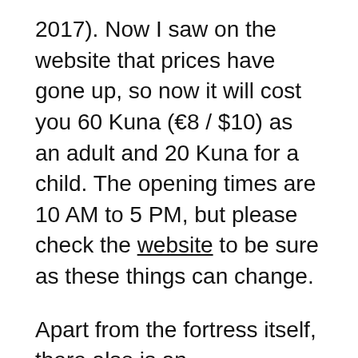2017). Now I saw on the website that prices have gone up, so now it will cost you 60 Kuna (€8 / $10) as an adult and 20 Kuna for a child. The opening times are 10 AM to 5 PM, but please check the website to be sure as these things can change.
Apart from the fortress itself, there also is an Interpretation Center where you can learn more about the fortress and Croatia's rich history. Unfortunately, when we went there, that Interpretation Center was not built yet. The visit to the Interpretation Center is included in your entrance ticket.